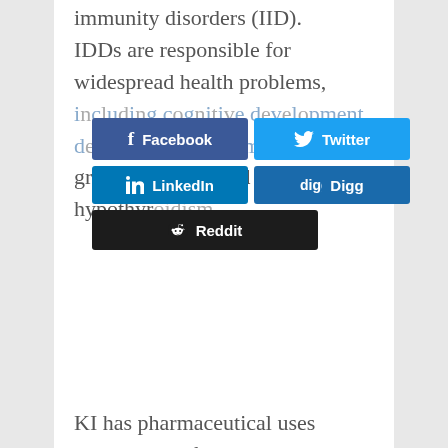...immunity disorders (IID). IDDs are responsible for widespread health problems, including ... cognitive development ... growth impairment ... hypothyroidism ...
[Figure (other): Social sharing buttons overlay: Facebook, Twitter, LinkedIn, Digg, Reddit]
KI has pharmaceutical uses too. It’s used for medical imaging, as an emergency treatment for hyperthyroidism (“thyroid storm”), as an expectorant, and as a treatment for cutaneous sporotrichosis (a fungal skin infection).
Just as importantly, KI can be